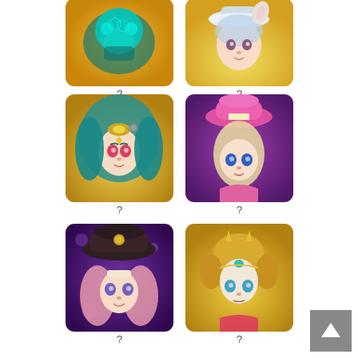[Figure (illustration): Game character portrait 1 - robot/snake creature on yellow/green background]
?
[Figure (illustration): Game character portrait 2 - girl with white/grey hat on yellow background]
?
[Figure (illustration): Game character portrait 3 - girl with teal hair and gold headpiece on yellow background]
?
[Figure (illustration): Game character portrait 4 - girl with pink hat on purple background]
?
[Figure (illustration): Game character portrait 5 - girl with dark hat and pink hair on purple background]
?
[Figure (illustration): Game character portrait 6 - girl with gold armor helmet on yellow background]
?